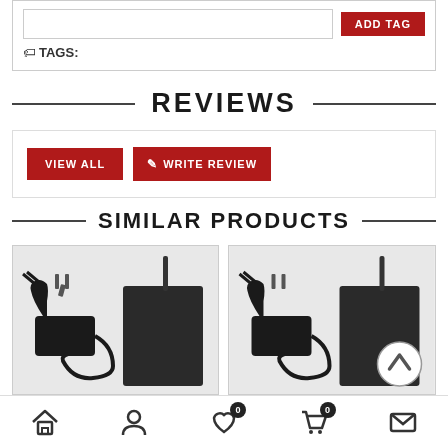TAGS:
REVIEWS
VIEW ALL   WRITE REVIEW
SIMILAR PRODUCTS
[Figure (photo): Electronic device - black wireless signal jammer/transmitter with power adapter, shown from front]
[Figure (photo): Electronic device - black wireless signal jammer/transmitter with power adapter, shown from front with back-to-top navigation arrow overlay]